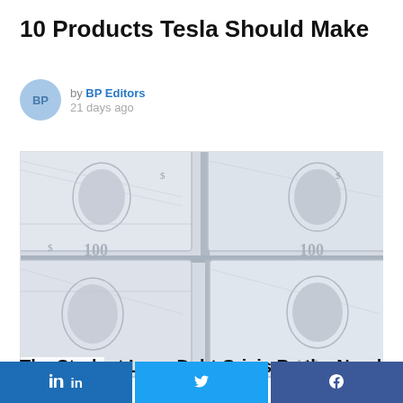10 Products Tesla Should Make
by BP Editors
21 days ago
[Figure (photo): Overhead view of multiple US $100 bills fanned/stacked, rendered in muted blue-grey tones]
368 Views
The Student Loan Debt Crisis By the Numbers